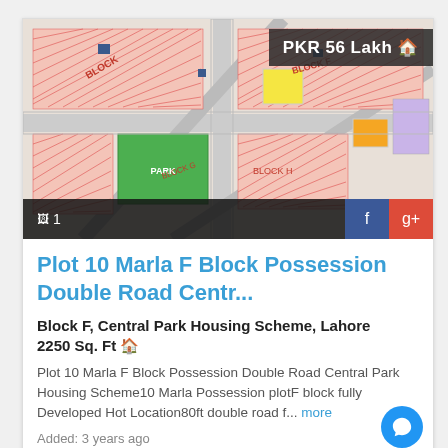[Figure (map): Colorful urban land plot map showing blocks with red-striped plots, green parks, yellow and orange highlighted plots, and diagonal roads. Price badge shows PKR 56 Lakh in top-right corner.]
Plot 10 Marla F Block Possession Double Road Centr...
Block F, Central Park Housing Scheme, Lahore
2250 Sq. Ft 🏠
Plot 10 Marla F Block Possession Double Road Central Park Housing Scheme10 Marla Possession plotF block fully Developed Hot Location80ft double road f... more
Added: 3 years ago